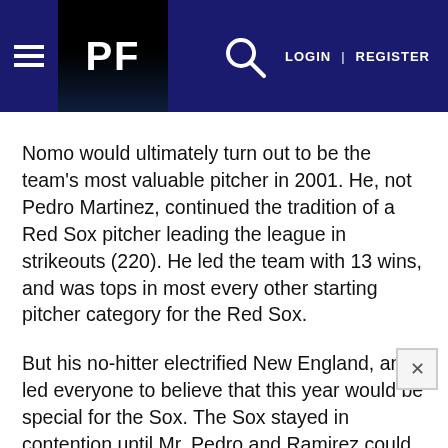PF | LOGIN | REGISTER
Nomo would ultimately turn out to be the team’s most valuable pitcher in 2001. He, not Pedro Martinez, continued the tradition of a Red Sox pitcher leading the league in strikeouts (220). He led the team with 13 wins, and was tops in most every other starting pitcher category for the Red Sox.
But his no-hitter electrified New England, and led everyone to believe that this year would be special for the Sox. The Sox stayed in contention until Mr. Pedro and Ramirez could no longer hold up under the strain of carrying the team in the absence of the injured Nomar Garciaparra. Nomo’s no-no jump-started the team, and provided a